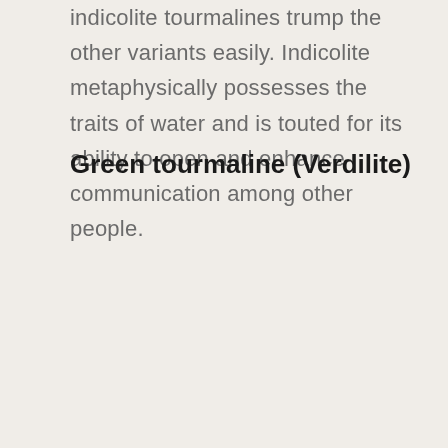indicolite tourmalines trump the other variants easily. Indicolite metaphysically possesses the traits of water and is touted for its ability to open and enhance communication among other people.
Green tourmaline (Verdilite)